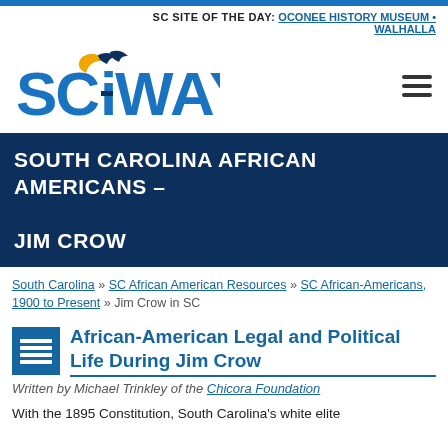SC SITE OF THE DAY: OCONEE HISTORY MUSEUM • WALHALLA
[Figure (logo): SCIWAY logo with crescent moon and wave mark in teal/gold colors]
SOUTH CAROLINA AFRICAN AMERICANS – JIM CROW
South Carolina » SC African American Resources » SC African-Americans, 1900 to Present » Jim Crow in SC
African-American Legal and Political Life During Jim Crow
Written by Michael Trinkley of the Chicora Foundation
With the 1895 Constitution, South Carolina's white elite